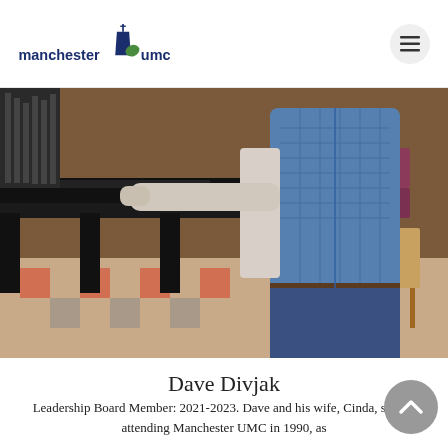manchester umc
[Figure (photo): A man in a blue quilted vest and plaid shirt standing next to a grand piano in a church setting with patterned tile floor and organ pipes visible in the background.]
Dave Divjak
Leadership Board Member: 2021-2023. Dave and his wife, Cinda, started attending Manchester UMC in 1990, as